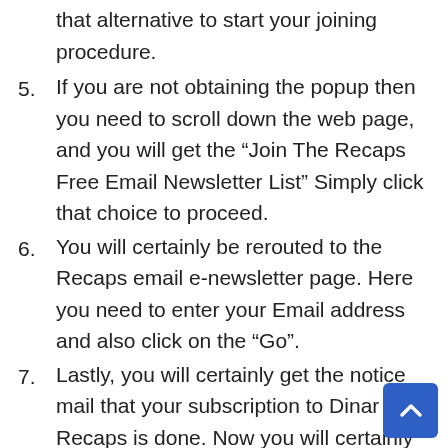that alternative to start your joining procedure.
5. If you are not obtaining the popup then you need to scroll down the web page, and you will get the “Join The Recaps Free Email Newsletter List” Simply click that choice to proceed.
6. You will certainly be rerouted to the Recaps email e-newsletter page. Here you need to enter your Email address and also click on the “Go”.
7. Lastly, you will certainly get the notice mail that your subscription to Dinar Recaps is done. Now you will certainly get the most recent updates according to the scheduled time.